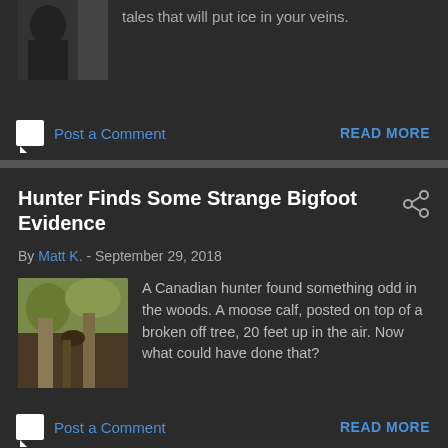tales that will put ice in your veins.
Post a Comment
READ MORE
Hunter Finds Some Strange Bigfoot Evidence
By Matt K. - September 29, 2018
A Canadian hunter found something odd in the woods. A moose calf, posted on top of a broken off tree, 20 feet up in the air. Now what could have done that?
Post a Comment
READ MORE